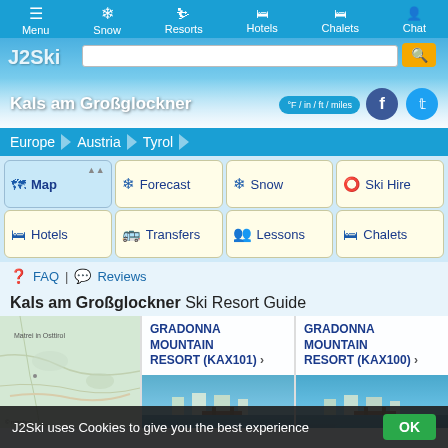Menu | Snow | Resorts | Hotels | Chalets | Chat
Kals am Großglockner
°F / in / ft / miles
Europe > Austria > Tyrol
Map
Forecast
Snow
Ski Hire
Hotels
Transfers
Lessons
Chalets
FAQ | Reviews
Kals am Großglockner Ski Resort Guide
[Figure (map): Map of Kals am Großglockner resort area]
GRADONNA MOUNTAIN RESORT (KAX101) >
GRADONNA MOUNTAIN RESORT (KAX100) >
J2Ski uses Cookies to give you the best experience OK